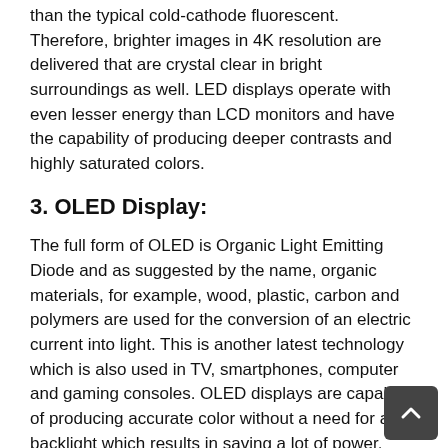than the typical cold-cathode fluorescent. Therefore, brighter images in 4K resolution are delivered that are crystal clear in bright surroundings as well. LED displays operate with even lesser energy than LCD monitors and have the capability of producing deeper contrasts and highly saturated colors.
3. OLED Display:
The full form of OLED is Organic Light Emitting Diode and as suggested by the name, organic materials, for example, wood, plastic, carbon and polymers are used for the conversion of an electric current into light. This is another latest technology which is also used in TV, smartphones, computer and gaming consoles. OLED displays are capable of producing accurate color without a need for any backlight which results in saving a lot of power. OLED displays are considered the best technology till now because of their properties like brilliant image quality, ideal contrasts and brightness, wide viewing angles, super-fast response and zero ghosting.
4. Plasma Display: